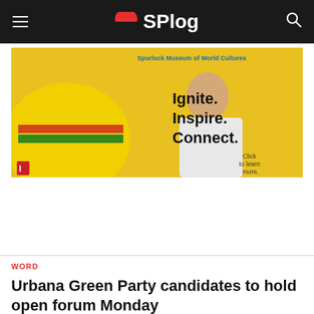SPlog
[Figure (photo): Advertisement banner for Spurlock Museum of World Cultures featuring a woman in colorful yellow/green/red striped dress and another person in white. Text reads: 'Ignite. Inspire. Connect. Click to learn more.']
WORD
Urbana Green Party candidates to hold open forum Monday